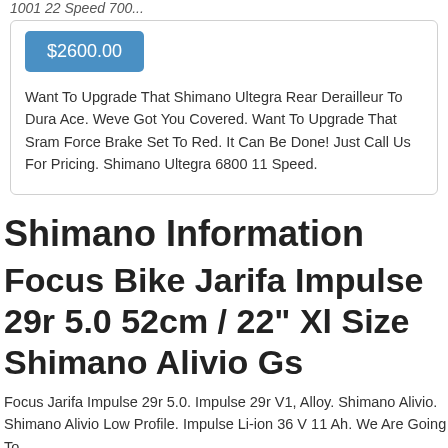$2600.00
Want To Upgrade That Shimano Ultegra Rear Derailleur To Dura Ace. Weve Got You Covered. Want To Upgrade That Sram Force Brake Set To Red. It Can Be Done! Just Call Us For Pricing. Shimano Ultegra 6800 11 Speed.
Shimano Information
Focus Bike Jarifa Impulse 29r 5.0 52cm / 22" Xl Size Shimano Alivio Gs
Focus Jarifa Impulse 29r 5.0. Impulse 29r V1, Alloy. Shimano Alivio. Shimano Alivio Low Profile. Impulse Li-ion 36 V 11 Ah. We Are Going To